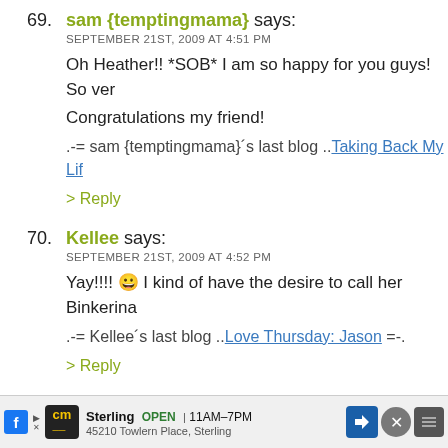69. sam {temptingmama} says:
SEPTEMBER 21ST, 2009 AT 4:51 PM
Oh Heather!! *SOB* I am so happy for you guys! So ver
Congratulations my friend!
.-= sam {temptingmama}'s last blog ..Taking Back My Lif
> Reply
70. Kellee says:
SEPTEMBER 21ST, 2009 AT 4:52 PM
Yay!!!! 😀 I kind of have the desire to call her Binkerina
.-= Kellee's last blog ..Love Thursday: Jason =-.
> Reply
71. Mary says:
SEPTEMBER 21ST, 2009 AT 4:52 PM
Congratulations! I was so sure it would be a boy, but sh
She'll be gorgeous, I'm sure – she has good genes. Cong
out! I (and the rest of your readers, I'm sure) can't wait t
[Figure (other): Advertisement bar at bottom: CarMax logo with Sterling location, OPEN 11AM-7PM, 45210 Towlern Place, Sterling, with navigation arrow icon and close button]